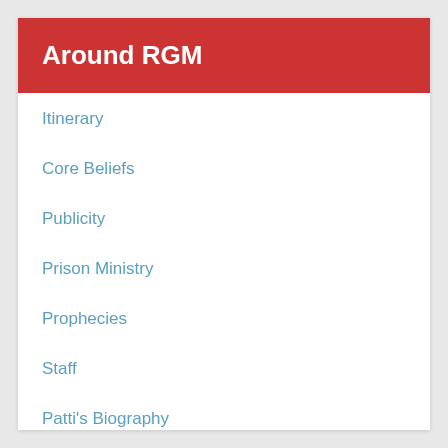Around RGM
Itinerary
Core Beliefs
Publicity
Prison Ministry
Prophecies
Staff
Patti's Biography
Employment